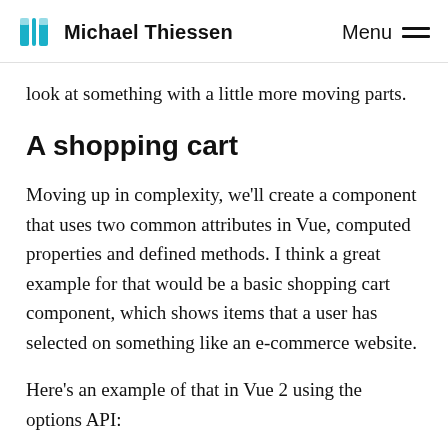Michael Thiessen   Menu
look at something with a little more moving parts.
A shopping cart
Moving up in complexity, we'll create a component that uses two common attributes in Vue, computed properties and defined methods. I think a great example for that would be a basic shopping cart component, which shows items that a user has selected on something like an e-commerce website.
Here's an example of that in Vue 2 using the options API: